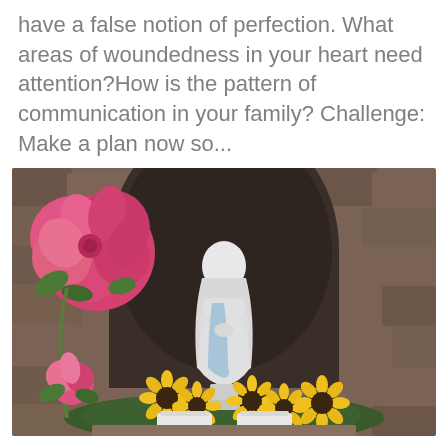have a false notion of perfection. What areas of woundedness in your heart need attention?How is the pattern of communication in your family? Challenge: Make a plan now so...
[Figure (photo): A white statue of the Virgin Mary in a stone grotto niche, surrounded by large pink roses on the left and yellow sunflowers at the base, set against a stone wall background.]